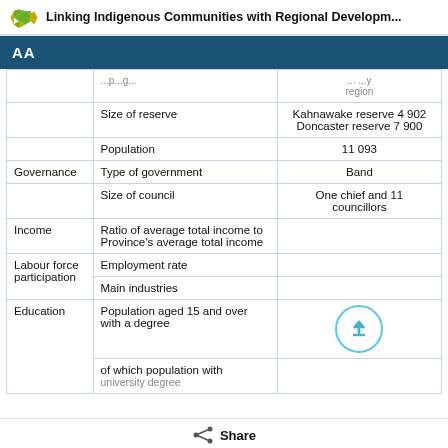Linking Indigenous Communities with Regional Developm...
|  | Type / category | ...region |
| --- | --- | --- |
|  | Size of reserve | Kahnawake reserve 4 902
Doncaster reserve 7 900 |
|  | Population | 11 093 |
| Governance | Type of government | Band |
| Governance | Size of council | One chief and 11 councillors |
| Income | Ratio of average total income to Province's average total income |  |
| Labour force participation | Employment rate |  |
| Labour force participation | Main industries |  |
| Education | Population aged 15 and over with a degree |  |
|  | of which population with university degree |  |
Share